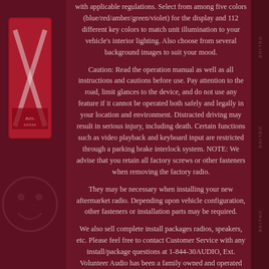with applicable regulations. Select from among five colors (blue/red/amber/green/violet) for the display and 112 different key colors to match unit illumination to your vehicle's interior lighting. Also choose from several background images to suit your mood.
Caution: Read the operation manual as well as all instructions and cautions before use. Pay attention to the road, limit glances to the device, and do not use any feature if it cannot be operated both safely and legally in your location and environment. Distracted driving may result in serious injury, including death. Certain functions such as video playback and keyboard input are restricted through a parking brake interlock system. NOTE: We advise that you retain all factory screws or other fasteners when removing the factory radio.
They may be necessary when installing your new aftermarket radio. Depending upon vehicle configuration, other fasteners or installation parts may be required.
We also sell complete install packages radios, speakers, etc. Please feel free to contact Customer Service with any install/package questions at 1-844-30AUDIO, Ext. Volunteer Audio has been a family owned and operated